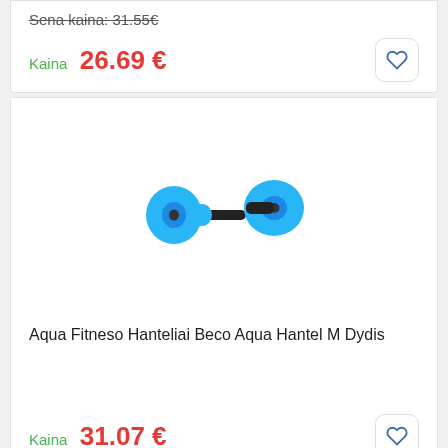Sena kaina: 31.55€
Kaina  26.69 €
[Figure (photo): Blue aqua fitness dumbbell (Beco Aqua Hantel M size) on white background]
Aqua Fitneso Hanteliai Beco Aqua Hantel M Dydis
Kaina  31.07 €
↑ 1%